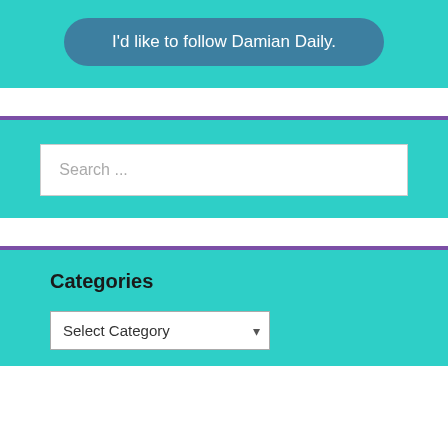I'd like to follow Damian Daily.
Search ...
Categories
Select Category